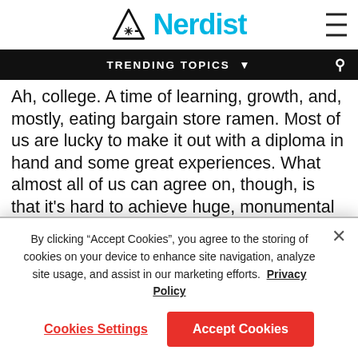Nerdist
TRENDING TOPICS
Ah, college. A time of learning, growth, and, mostly, eating bargain store ramen. Most of us are lucky to make it out with a diploma in hand and some great experiences. What almost all of us can agree on, though, is that it's hard to achieve huge, monumental success while at university. College student Harrison Duran did manage a prehistoric achievement while still in school. The fifth year student managed to discover a partial Triceratops skull
By clicking “Accept Cookies”, you agree to the storing of cookies on your device to enhance site navigation, analyze site usage, and assist in our marketing efforts. Privacy Policy
Cookies Settings
Accept Cookies